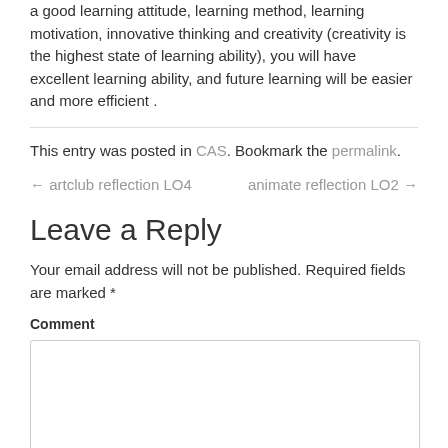a good learning attitude, learning method, learning motivation, innovative thinking and creativity (creativity is the highest state of learning ability), you will have excellent learning ability, and future learning will be easier and more efficient .
This entry was posted in CAS. Bookmark the permalink.
← artclub reflection LO4    animate reflection LO2 →
Leave a Reply
Your email address will not be published. Required fields are marked *
Comment